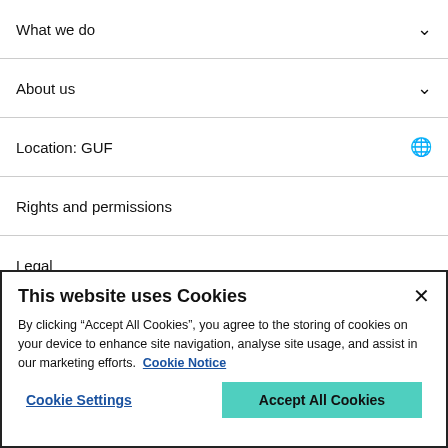What we do
About us
Location: GUF
Rights and permissions
Legal
Privacy
Modern slavery
This website uses Cookies
By clicking “Accept All Cookies”, you agree to the storing of cookies on your device to enhance site navigation, analyse site usage, and assist in our marketing efforts. Cookie Notice
Cookie Settings
Accept All Cookies